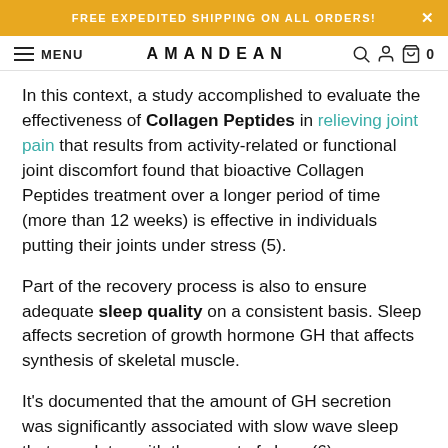FREE EXPEDITED SHIPPING ON ALL ORDERS!
AMANDEAN  MENU
In this context, a study accomplished to evaluate the effectiveness of Collagen Peptides in relieving joint pain that results from activity-related or functional joint discomfort found that bioactive Collagen Peptides treatment over a longer period of time (more than 12 weeks) is effective in individuals putting their joints under stress (5).
Part of the recovery process is also to ensure adequate sleep quality on a consistent basis. Sleep affects secretion of growth hormone GH that affects synthesis of skeletal muscle.
It's documented that the amount of GH secretion was significantly associated with slow wave sleep that correlates with the onset of sleep (6).